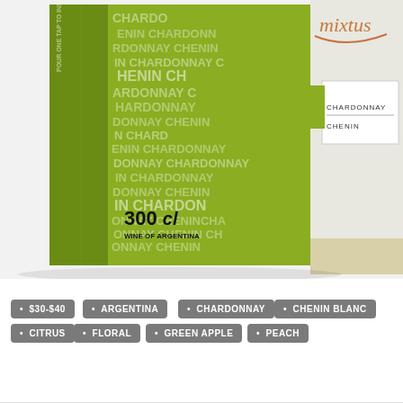[Figure (photo): Photo of Mixtus wine box packaging showing a green olive-colored box with 'CHARDONNAY CHENIN' text pattern repeated on the surface, labeled '300 cl WINE OF ARGENTINA', alongside a white label panel with 'mixtus' logo and 'CHARDONNAY CHENIN' label]
$30-$40
ARGENTINA
CHARDONNAY
CHENIN BLANC
CITRUS
FLORAL
GREEN APPLE
PEACH